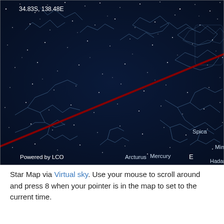[Figure (illustration): Star map screenshot showing constellations on a dark navy background. Visible stars and labels include Regulus, Sun (yellow dot), Mercury, Spica, Mimosa, Hadar, Alpha Centauri, Arcturus, Antares. A dark red line (ecliptic) crosses diagonally from top-left to bottom-right. Constellation lines drawn in light blue. Coordinates 34.83S, 138.48E shown in top-left. 'Powered by LCO' label at bottom-left. 'E' compass label near bottom center.]
Star Map via Virtual sky. Use your mouse to scroll around and press 8 when your pointer is in the map to set to the current time.